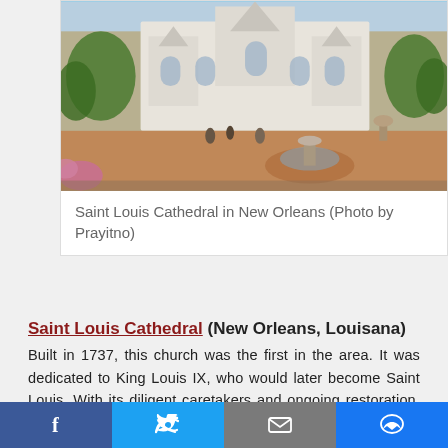[Figure (photo): Saint Louis Cathedral in New Orleans, showing the white facade of the cathedral with palm trees and a fountain in the foreground, square plaza area with visitors]
Saint Louis Cathedral in New Orleans (Photo by Prayitno)
Saint Louis Cathedral (New Orleans, Louisana)
Built in 1737, this church was the first in the area. It was dedicated to King Louis IX, who would later become Saint Louis. With its diligent caretakers and ongoing restoration, it remains the oldest Catholic cathedral in continual use in the United States. A great fire in 1788 burnt the original Saint Louis Cathedral to the ground, but the remains were soon cleared away in order to make room for reconstruction. The new church was completed in December 1794. Twelve bishops and archbishops are interred around the altar, and a number of the city's early leaders have been buried under the church.
Social share bar: Facebook, Twitter, Email, Messenger